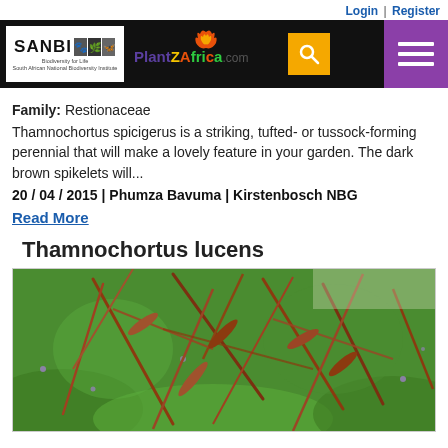Login | Register
[Figure (logo): SANBI and PlantZAfrica.com website header navigation bar with search and menu buttons]
Family: Restionaceae
Thamnochortus spicigerus is a striking, tufted- or tussock-forming perennial that will make a lovely feature in your garden. The dark brown spikelets will...
20 / 04 / 2015 | Phumza Bavuma | Kirstenbosch NBG
Read More
Thamnochortus lucens
[Figure (photo): Close-up photograph of Thamnochortus lucens plant showing reddish-brown stems and foliage against green background]